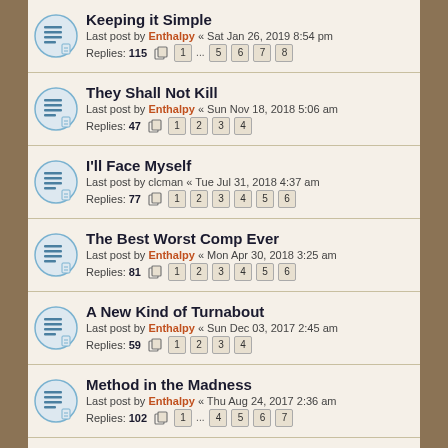Keeping it Simple
Last post by Enthalpy « Sat Jan 26, 2019 8:54 pm
Replies: 115
Pages: 1 ... 5 6 7 8
They Shall Not Kill
Last post by Enthalpy « Sun Nov 18, 2018 5:06 am
Replies: 47
Pages: 1 2 3 4
I'll Face Myself
Last post by clcman « Tue Jul 31, 2018 4:37 am
Replies: 77
Pages: 1 2 3 4 5 6
The Best Worst Comp Ever
Last post by Enthalpy « Mon Apr 30, 2018 3:25 am
Replies: 81
Pages: 1 2 3 4 5 6
A New Kind of Turnabout
Last post by Enthalpy « Sun Dec 03, 2017 2:45 am
Replies: 59
Pages: 1 2 3 4
Method in the Madness
Last post by Enthalpy « Thu Aug 24, 2017 2:36 am
Replies: 102
Pages: 1 ... 4 5 6 7
No Pressure
Last post by Enthalpy « Sun May 07, 2017 9:52 pm
Replies: 179
Pages: 1 ... 9 10 11 12